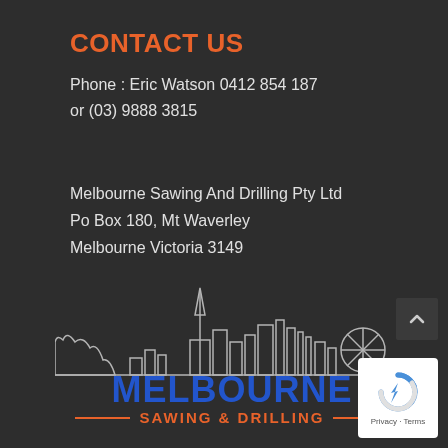CONTACT US
Phone : Eric Watson 0412 854 187
or (03) 9888 3815
Melbourne Sawing And Drilling Pty Ltd
Po Box 180, Mt Waverley
Melbourne Victoria 3149
[Figure (logo): Melbourne Sawing & Drilling logo showing city skyline outline above bold blue text 'MELBOURNE' and orange text 'SAWING & DRILLING' with decorative lines]